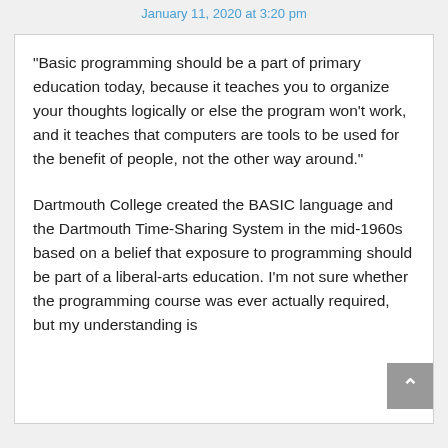January 11, 2020 at 3:20 pm
“Basic programming should be a part of primary education today, because it teaches you to organize your thoughts logically or else the program won’t work, and it teaches that computers are tools to be used for the benefit of people, not the other way around.”
Dartmouth College created the BASIC language and the Dartmouth Time-Sharing System in the mid-1960s based on a belief that exposure to programming should be part of a liberal-arts education. I’m not sure whether the programming course was ever actually required, but my understanding is